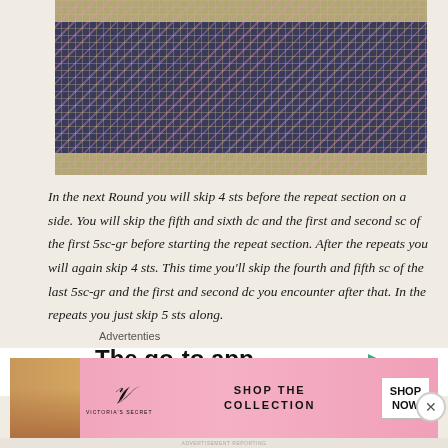[Figure (photo): Close-up photo of a crochet or needlework piece showing dark navy/purple background with pink zigzag pattern stitches and a tan/gold border on top and bottom]
In the next Round you will skip 4 sts before the repeat section on a side. You will skip the fifth and sixth dc and the first and second sc of the first 5sc-gr before starting the repeat section. After the repeats you will again skip 4 sts. This time you'll skip the fourth and fifth sc of the last 5sc-gr and the first and second dc you encounter after that. In the repeats you just skip 5 sts along.
Advertenties
[Figure (screenshot): Advertisement banner for a podcast app with text 'The go-to app for podcast' and a green triangle/play button icon on the right]
Advertenties
[Figure (screenshot): Victoria's Secret advertisement banner with pink background, VS logo, text 'SHOP THE COLLECTION' and 'SHOP NOW' button, featuring a model on the left]